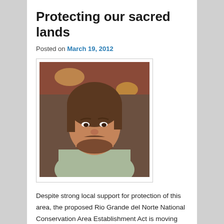Protecting our sacred lands
Posted on March 19, 2012
[Figure (photo): Portrait photo of a man with medium-length brown hair and a beard, wearing a light green shirt, seated indoors with warm lighting in the background.]
Despite strong local support for protection of this area, the proposed Rio Grande del Norte National Conservation Area Establishment Act is moving through Congress slowly. Garrett VeneKlasen with Trout Unlimited, talks about the need to push for the protection of our most cherished public lands for the benefit of our children and grandchildren. From the Albuquerque Journal (March 17